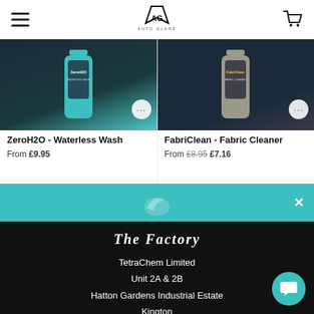AUTO GLANZ logo with hamburger menu and cart icon
[Figure (photo): Product photo of ZeroH2O Waterless Wash bottle with teal/dark label]
ZeroH2O - Waterless Wash
From £9.95
[Figure (photo): Product photo of FabriClean Fabric Cleaner bottle with dark label]
FabriClean - Fabric Cleaner
From £8.95 £7.16
The Factory
TetraChem Limited
Unit 2A & 2B
Hatton Gardens Industrial Estate
Kington
Herefordshire
HR5 3RB